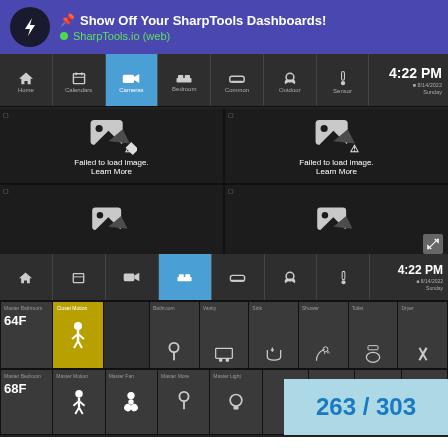📌 Show Off Your SharpTools Dashboards! • SharpTools.io (web)
[Figure (screenshot): SharpTools smart home dashboard showing a Cameras tab with navigation bar (Home, Calendar, Cameras active/highlighted in blue, Bedroom, Common, Outdoor, Sensor tabs), a clock showing 4:22 PM on 8/14/2022 (Tuesday), and a 2x2 grid of camera feed panels each showing 'Failed to load image. Learn More' with a broken image icon. The bottom two panels are partially visible.]
[Figure (screenshot): SharpTools smart home dashboard showing Bedroom tab active (blue), same navigation bar, clock showing 4:22 PM, and a tile grid with Master Bathroom (64F), Closet Motion (yellow tile with walking person icon), Bathroom, Vanity, Sink, Shower, Toilet, Dryer tiles in row 1, and Master Bedroom (68F), Master Motion, Master Fan, Master More, Master Light tiles in row 2, plus a counter showing 263 / 303 in blue on light blue background.]